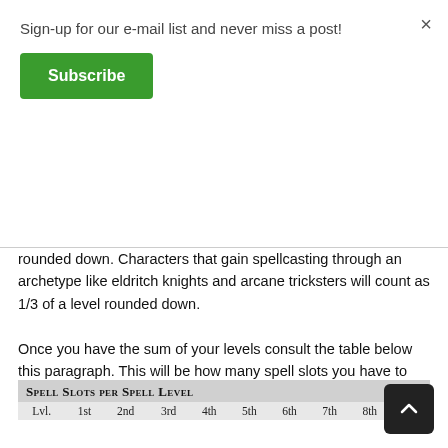Sign-up for our e-mail list and never miss a post!
Subscribe
rounded down. Characters that gain spellcasting through an archetype like eldritch knights and arcane tricksters will count as 1/3 of a level rounded down.
Once you have the sum of your levels consult the table below this paragraph. This will be how many spell slots you have to use with your combined levels. Pact magic from warlocks is an exception to the rule and one of the reasons why warlock is such a powerful multiclassing option for many character builds.
| Lvl. | 1st | 2nd | 3rd | 4th | 5th | 6th | 7th | 8th | 9th |
| --- | --- | --- | --- | --- | --- | --- | --- | --- | --- |